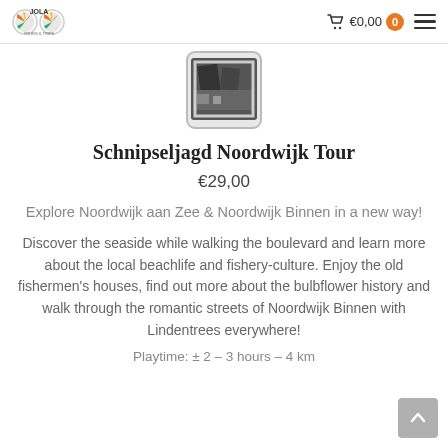JOLA TOURS & TRIPS — €0,00
[Figure (photo): Smartphone displaying a city photo, shown in a rounded rectangle device frame]
Schnipseljagd Noordwijk Tour
€29,00
Explore Noordwijk aan Zee & Noordwijk Binnen in a new way!
Discover the seaside while walking the boulevard and learn more about the local beachlife and fishery-culture. Enjoy the old fishermen's houses, find out more about the bulbflower history and walk through the romantic streets of Noordwijk Binnen with Lindentrees everywhere!
Playtime: ± 2 – 3 hours – 4 km